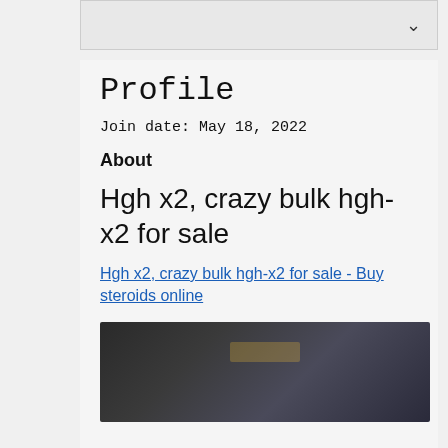Profile
Join date: May 18, 2022
About
Hgh x2, crazy bulk hgh-x2 for sale
Hgh x2, crazy bulk hgh-x2 for sale - Buy steroids online
[Figure (photo): Dark blurred product image]